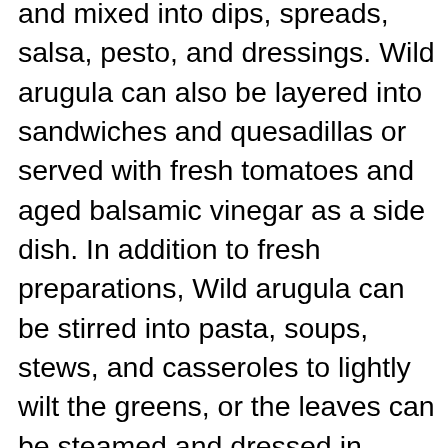and mixed into dips, spreads, salsa, pesto, and dressings. Wild arugula can also be layered into sandwiches and quesadillas or served with fresh tomatoes and aged balsamic vinegar as a side dish. In addition to fresh preparations, Wild arugula can be stirred into pasta, soups, stews, and casseroles to lightly wilt the greens, or the leaves can be steamed and dressed in vinegar as a tangy accompaniment. When the variety is heated, the texture softens, and the flavor will mellow. Wild arugula pairs well with meats such as poultry, duck, beef, and veal, seafood, nuts such as walnuts, pine nuts, and almonds, summer squash, potatoes, mushrooms, radicchio, butter lettuce, tomatoes, cheeses such as mozzarella, parmigiano-reggiano, gruyere, and cheddar, and fruits such as pears, melons, grapes, and berries. Whole, unwashed leaves should be placed in between paper towels and kept for 2 to 5 days when stored in a sealed container in the refrigerator.